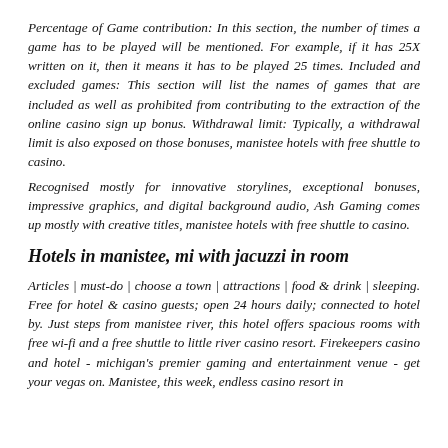Percentage of Game contribution: In this section, the number of times a game has to be played will be mentioned. For example, if it has 25X written on it, then it means it has to be played 25 times. Included and excluded games: This section will list the names of games that are included as well as prohibited from contributing to the extraction of the online casino sign up bonus. Withdrawal limit: Typically, a withdrawal limit is also exposed on those bonuses, manistee hotels with free shuttle to casino.
Recognised mostly for innovative storylines, exceptional bonuses, impressive graphics, and digital background audio, Ash Gaming comes up mostly with creative titles, manistee hotels with free shuttle to casino.
Hotels in manistee, mi with jacuzzi in room
Articles | must-do | choose a town | attractions | food & drink | sleeping. Free for hotel & casino guests; open 24 hours daily; connected to hotel by. Just steps from manistee river, this hotel offers spacious rooms with free wi-fi and a free shuttle to little river casino resort. Firekeepers casino and hotel - michigan's premier gaming and entertainment venue - get your vegas on. Manistee, this week, endless casino resort in